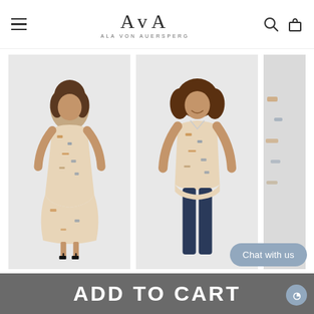AvA — ALA VON AUERSPERG
[Figure (photo): Woman wearing a floral/abstract print long-sleeve dress, standing on light grey background]
[Figure (photo): Woman wearing a floral/abstract print long-sleeve shirt with dark jeans, smiling on light grey background]
[Figure (photo): Partial view of a third product — abstract print garment on light grey background]
25% OFF W/ CODE EXTRA25
ISABELLE
25% OFF W/ CODE EXTRA25
ANNIE CO...
25% OFF ... EXTRA
Chat with us
ADD TO CART